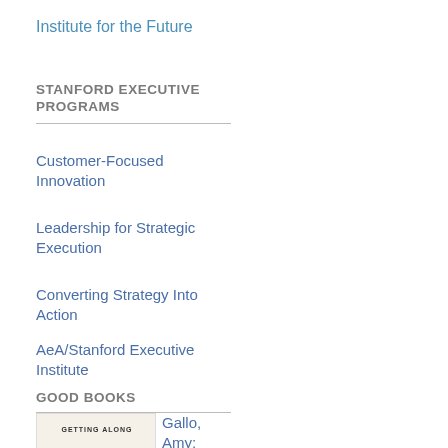Institute for the Future
STANFORD EXECUTIVE PROGRAMS
Customer-Focused Innovation
Leadership for Strategic Execution
Converting Strategy Into Action
AeA/Stanford Executive Institute
GOOD BOOKS
[Figure (illustration): Book cover for 'Getting Along: How to Work with Anyone (Even Difficult People)' by Amy Gallo, featuring orange illustrated figures/heads]
Gallo, Amy: Getting Along: How to